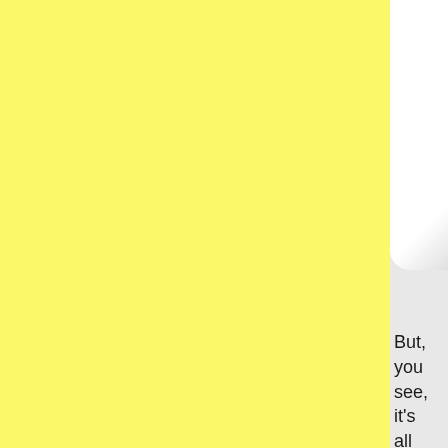But, you see, it's all part of Dick Wulf's masterplan to disc